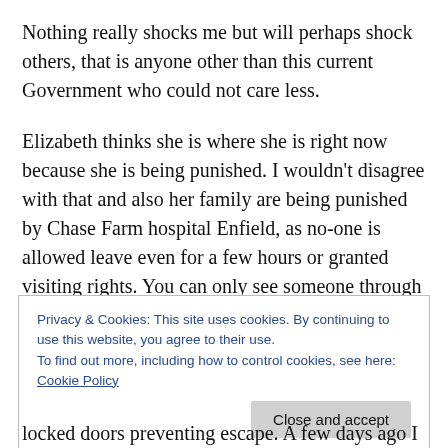Nothing really shocks me but will perhaps shock others, that is anyone other than this current Government who could not care less.
Elizabeth thinks she is where she is right now because she is being punished. I wouldn't disagree with that and also her family are being punished by Chase Farm hospital Enfield, as no-one is allowed leave even for a few hours or granted visiting rights. You can only see someone through a narrow pane of glass in the void between two locked doors where it is difficult to speak because of
Privacy & Cookies: This site uses cookies. By continuing to use this website, you agree to their use. To find out more, including how to control cookies, see here: Cookie Policy
locked doors preventing escape. A few days ago I